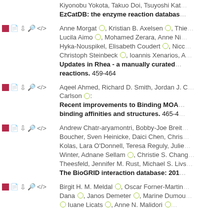Kiyonobu Yokota, Takuo Doi, Tsuyoshi Kat...
EzCatDB: the enzyme reaction databas...
Anne Morgat, Kristian B. Axelsen, Thie... Lucila Aimo, Mohamed Zerara, Anne Ni... Hyka-Nouspikel, Elisabeth Coudert, Nicc... Christoph Steinbeck, Ioannis Xenarios, A...
Updates in Rhea - a manually curated... reactions. 459-464
Aqeel Ahmed, Richard D. Smith, Jordan J. C... Carlson:
Recent improvements to Binding MOA... binding affinities and structures. 465-4...
Andrew Chatr-aryamontri, Bobby-Joe Breit... Boucher, Sven Heinicke, Daici Chen, Chris... Kolas, Lara O'Donnell, Teresa Reguly, Julie... Winter, Adnane Sellam, Christie S. Chang... Theesfeld, Jennifer M. Rust, Michael S. Livs...
The BioGRID interaction database: 201...
Birgit H. M. Meldal, Oscar Forner-Martin... Dana, Janos Demeter, Marine Dumou... Anne N. Malidori...